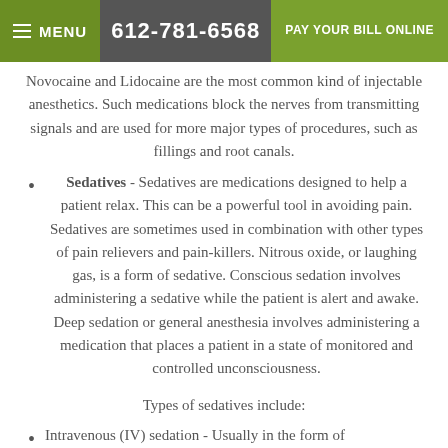MENU | 612-781-6568 | PAY YOUR BILL ONLINE
Novocaine and Lidocaine are the most common kind of injectable anesthetics. Such medications block the nerves from transmitting signals and are used for more major types of procedures, such as fillings and root canals.
Sedatives - Sedatives are medications designed to help a patient relax. This can be a powerful tool in avoiding pain. Sedatives are sometimes used in combination with other types of pain relievers and pain-killers. Nitrous oxide, or laughing gas, is a form of sedative. Conscious sedation involves administering a sedative while the patient is alert and awake. Deep sedation or general anesthesia involves administering a medication that places a patient in a state of monitored and controlled unconsciousness.
Types of sedatives include:
Intravenous (IV) sedation - Usually in the form of